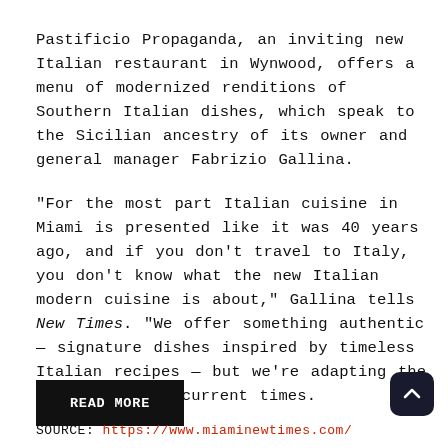Pastificio Propaganda, an inviting new Italian restaurant in Wynwood, offers a menu of modernized renditions of Southern Italian dishes, which speak to the Sicilian ancestry of its owner and general manager Fabrizio Gallina.
"For the most part Italian cuisine in Miami is presented like it was 40 years ago, and if you don't travel to Italy, you don't know what the new Italian modern cuisine is about," Gallina tells New Times. "We offer something authentic — signature dishes inspired by timeless Italian recipes — but we're adapting the ingredients to current times.
READ MORE
SOURCE: https://www.miaminewtimes.com/